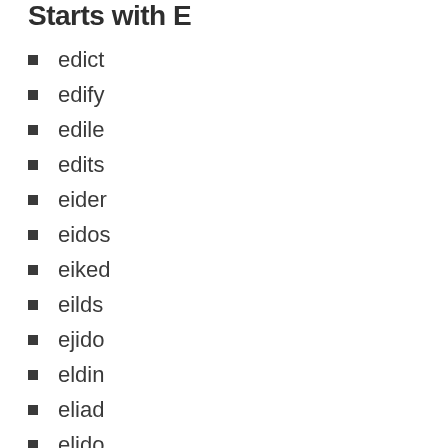Starts with E
edict
edify
edile
edits
eider
eidos
eiked
eilds
ejido
eldin
eliad
elido